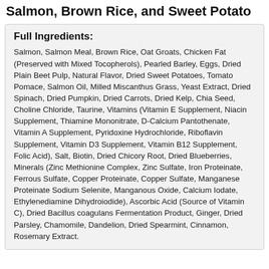Salmon, Brown Rice, and Sweet Potato
Full Ingredients:
Salmon, Salmon Meal, Brown Rice, Oat Groats, Chicken Fat (Preserved with Mixed Tocopherols), Pearled Barley, Eggs, Dried Plain Beet Pulp, Natural Flavor, Dried Sweet Potatoes, Tomato Pomace, Salmon Oil, Milled Miscanthus Grass, Yeast Extract, Dried Spinach, Dried Pumpkin, Dried Carrots, Dried Kelp, Chia Seed, Choline Chloride, Taurine, Vitamins (Vitamin E Supplement, Niacin Supplement, Thiamine Mononitrate, D-Calcium Pantothenate, Vitamin A Supplement, Pyridoxine Hydrochloride, Riboflavin Supplement, Vitamin D3 Supplement, Vitamin B12 Supplement, Folic Acid), Salt, Biotin, Dried Chicory Root, Dried Blueberries, Minerals (Zinc Methionine Complex, Zinc Sulfate, Iron Proteinate, Ferrous Sulfate, Copper Proteinate, Copper Sulfate, Manganese Proteinate Sodium Selenite, Manganous Oxide, Calcium Iodate, Ethylenediamine Dihydroiodide), Ascorbic Acid (Source of Vitamin C), Dried Bacillus coagulans Fermentation Product, Ginger, Dried Parsley, Chamomile, Dandelion, Dried Spearmint, Cinnamon, Rosemary Extract.